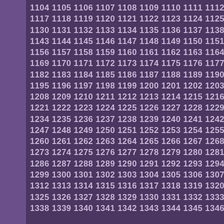1104 1105 1106 1107 1108 1109 1110 1111 1112 1113 1114 1115 1116 1117 1118 1119 1120 1121 1122 1123 1124 1125 1126 1127 1128 1129 1130 1131 1132 1133 1134 1135 1136 1137 1138 1139 1140 1141 1142 1143 1144 1145 1146 1147 1148 1149 1150 1151 1152 1153 1154 1155 1156 1157 1158 1159 1160 1161 1162 1163 1164 1165 1166 1167 1168 1169 1170 1171 1172 1173 1174 1175 1176 1177 1178 1179 1180 1181 1182 1183 1184 1185 1186 1187 1188 1189 1190 1191 1192 1193 1194 1195 1196 1197 1198 1199 1200 1201 1202 1203 1204 1205 1206 1207 1208 1209 1210 1211 1212 1213 1214 1215 1216 1217 1218 1219 1220 1221 1222 1223 1224 1225 1226 1227 1228 1229 1230 1231 1232 1233 1234 1235 1236 1237 1238 1239 1240 1241 1242 1243 1244 1245 1246 1247 1248 1249 1250 1251 1252 1253 1254 1255 1256 1257 1258 1259 1260 1261 1262 1263 1264 1265 1266 1267 1268 1269 1270 1271 1272 1273 1274 1275 1276 1277 1278 1279 1280 1281 1282 1283 1284 1285 1286 1287 1288 1289 1290 1291 1292 1293 1294 1295 1296 1297 1298 1299 1300 1301 1302 1303 1304 1305 1306 1307 1308 1309 1310 1311 1312 1313 1314 1315 1316 1317 1318 1319 1320 1321 1322 1323 1324 1325 1326 1327 1328 1329 1330 1331 1332 1333 1334 1335 1336 1337 1338 1339 1340 1341 1342 1343 1344 1345 1346 1347 1348 1349